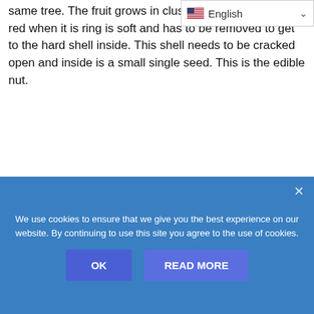same tree. The fruit grows in clust... to yellow and then to red when it is ripe... ring is soft and has to be removed to get to the hard shell inside. This shell needs to be cracked open and inside is a small single seed. This is the edible nut.
[Figure (screenshot): Language selector dropdown showing US flag and 'English' label with a chevron/dropdown arrow]
We use cookies to ensure that we give you the best experience on our website. By continuing to use this site you agree to the use of cookies.